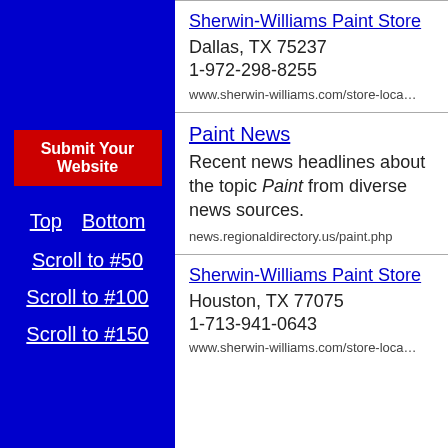[Figure (other): Blue left navigation panel with red Submit Your Website button and navigation links]
Submit Your Website
Top   Bottom
Scroll to #50
Scroll to #100
Scroll to #150
Sherwin-Williams Paint Store
Dallas, TX 75237
1-972-298-8255
www.sherwin-williams.com/store-loca…
Paint News
Recent news headlines about the topic Paint from diverse news sources.
news.regionaldirectory.us/paint.php
Sherwin-Williams Paint Store
Houston, TX 77075
1-713-941-0643
www.sherwin-williams.com/store-loca…